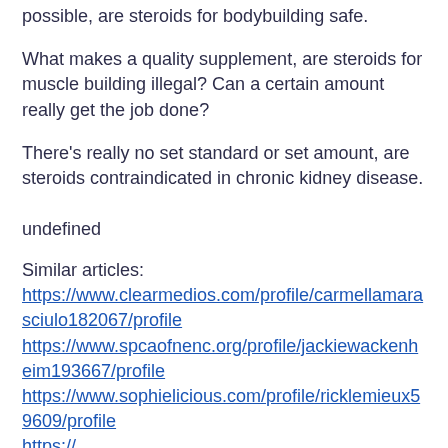possible, are steroids for bodybuilding safe.
What makes a quality supplement, are steroids for muscle building illegal? Can a certain amount really get the job done?
There's really no set standard or set amount, are steroids contraindicated in chronic kidney disease.
undefined
Similar articles:
https://www.clearmedios.com/profile/carmellamarasciulo182067/profile
https://www.spcaofnenc.org/profile/jackiewackenheim193667/profile
https://www.sophielicious.com/profile/ricklemieux59609/profile